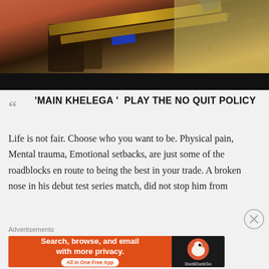[Figure (photo): A person holding a wooden cricket bat or plank, wearing a yellow polka-dot shirt, with other people visible in the background. Dark strip at the bottom of the image.]
‘MAIN KHELEGA ’  PLAY THE NO QUIT POLICY
Life is not fair. Choose who you want to be. Physical pain, Mental trauma, Emotional setbacks, are just some of the roadblocks en route to being the best in your trade. A broken nose in his debut test series match, did not stop him from
Advertisements
[Figure (screenshot): DuckDuckGo advertisement banner: orange background with text 'Search, browse, and email with more privacy. All in One Free App' and DuckDuckGo logo on dark background on the right side.]